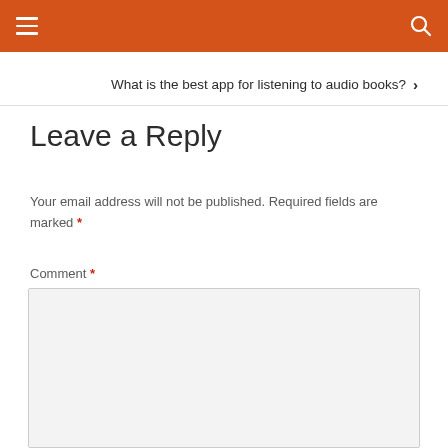What is the best app for listening to audio books? ›
Leave a Reply
Your email address will not be published. Required fields are marked *
Comment *